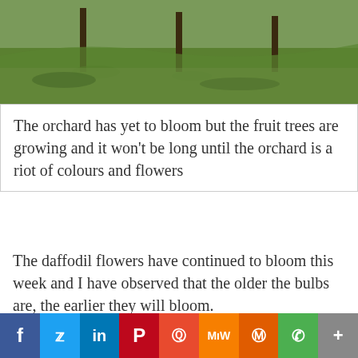[Figure (photo): Orchard scene with fruit trees on a grassy hillside, partially cropped at top]
The orchard has yet to bloom but the fruit trees are growing and it won't be long until the orchard is a riot of colours and flowers
The daffodil flowers have continued to bloom this week and I have observed that the older the bulbs are, the earlier they will bloom.
[Figure (photo): A lemon tree laden with yellow lemons in a garden setting with a white carport/shed in the background]
f  Twitter  in  P  reddit  MW  Mix  WhatsApp  +